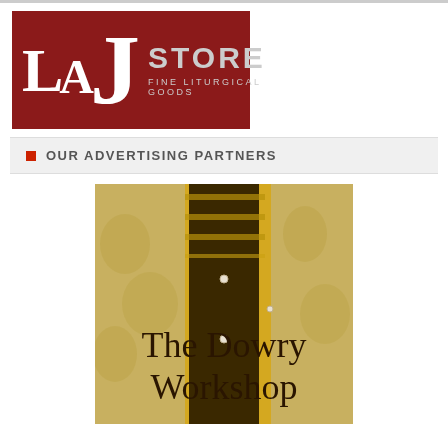[Figure (logo): LAJ Store - Fine Liturgical Goods logo on dark red background with large stylized LAJ letters and STORE text]
OUR ADVERTISING PARTNERS
[Figure (photo): Advertisement for The Dowry Workshop showing ornate gold and dark liturgical vestment with text overlay reading 'The Dowry Workshop']